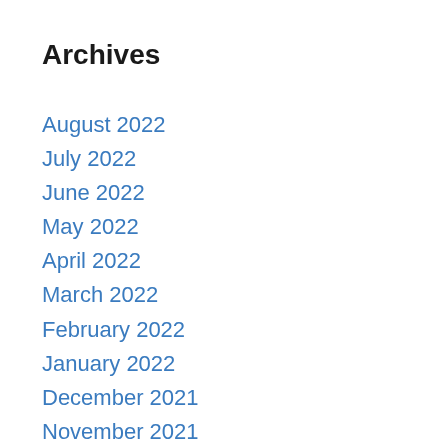Archives
August 2022
July 2022
June 2022
May 2022
April 2022
March 2022
February 2022
January 2022
December 2021
November 2021
October 2021
July 2017